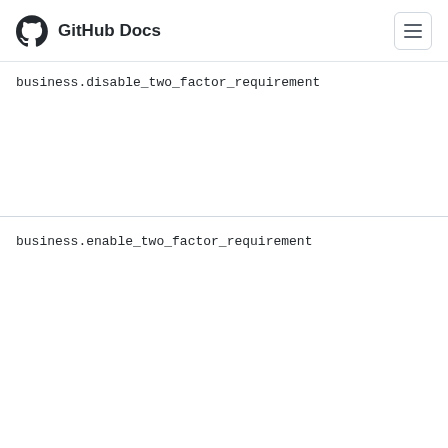GitHub Docs
business.disable_two_factor_requirement (truncated/partially visible at top)
business.enable_two_factor_requirement